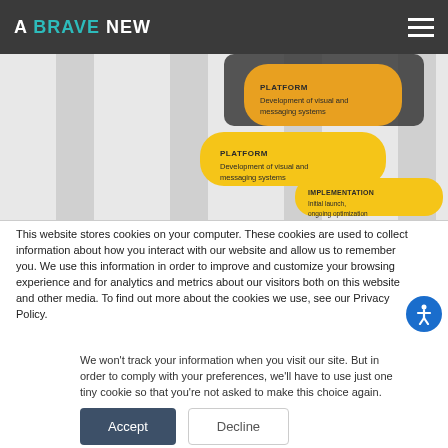A BRAVE NEW
[Figure (flowchart): Stepped flowchart diagram showing stages: Platform (Development of visual and messaging systems) and Implementation (Initial launch, ongoing optimization) as yellow rounded rectangles on a grey columned background.]
This website stores cookies on your computer. These cookies are used to collect information about how you interact with our website and allow us to remember you. We use this information in order to improve and customize your browsing experience and for analytics and metrics about our visitors both on this website and other media. To find out more about the cookies we use, see our Privacy Policy.
We won't track your information when you visit our site. But in order to comply with your preferences, we'll have to use just one tiny cookie so that you're not asked to make this choice again.